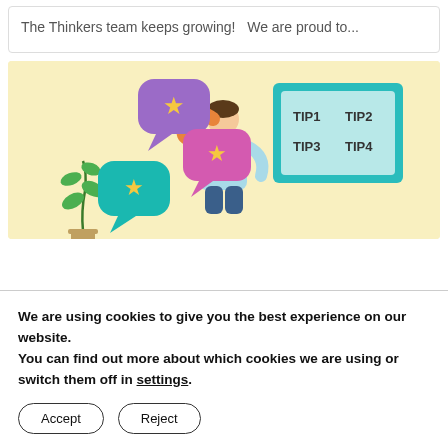The Thinkers team keeps growing!   We are proud to...
[Figure (illustration): Illustration of a person in a light blue shirt holding up a teal-framed board labeled TIP1, TIP2, TIP3, TIP4. Around them are colorful speech bubbles (purple, pink, teal) each with a yellow star. A small potted plant is visible in the lower left. Background is light yellow.]
We are using cookies to give you the best experience on our website.
You can find out more about which cookies we are using or switch them off in settings.
Accept
Reject